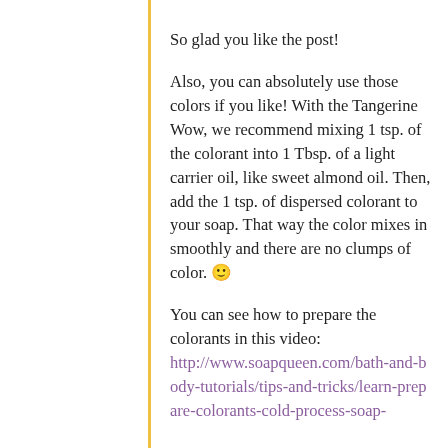So glad you like the post!
Also, you can absolutely use those colors if you like! With the Tangerine Wow, we recommend mixing 1 tsp. of the colorant into 1 Tbsp. of a light carrier oil, like sweet almond oil. Then, add the 1 tsp. of dispersed colorant to your soap. That way the color mixes in smoothly and there are no clumps of color. 🙂
You can see how to prepare the colorants in this video: http://www.soapqueen.com/bath-and-body-tutorials/tips-and-tricks/learn-prepare-colorants-cold-process-soap-